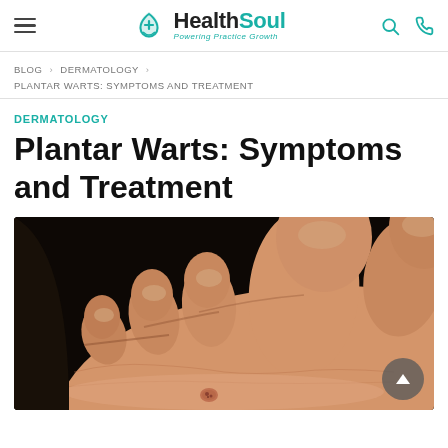HealthSoul — Powering Practice Growth
BLOG > DERMATOLOGY > PLANTAR WARTS: SYMPTOMS AND TREATMENT
DERMATOLOGY
Plantar Warts: Symptoms and Treatment
[Figure (photo): Close-up photo of the underside of a human foot showing toes and a plantar wart on the sole, against a dark background.]